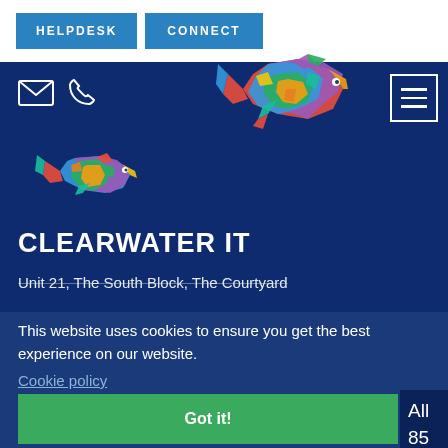HELPDESK  CONNECT
[Figure (screenshot): Website header screenshot showing CLEARWATER IT company page with colorful dolphin logos, navigation icons, company name, partial address, and a cookie consent banner with 'Got it!' button.]
CLEARWATER IT
Unit 21, The South Block, The Courtyard
This website uses cookies to ensure you get the best experience on our website.
Cookie policy
Got it!
All
85